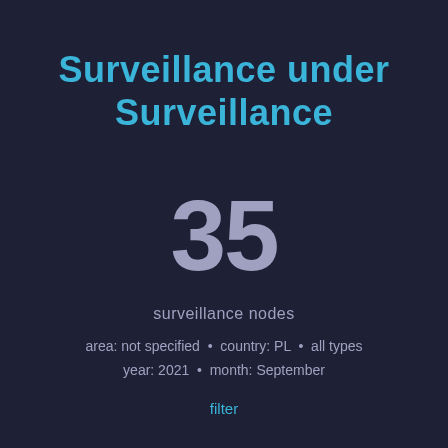Surveillance under Surveillance
35
surveillance nodes
area: not specified • country: PL • all types
year: 2021 • month: September
filter
[Figure (pie-chart): Partial pie chart visible at bottom of page, showing purple segments of varying sizes against a dark background. The chart is cropped and only the top portion is visible.]